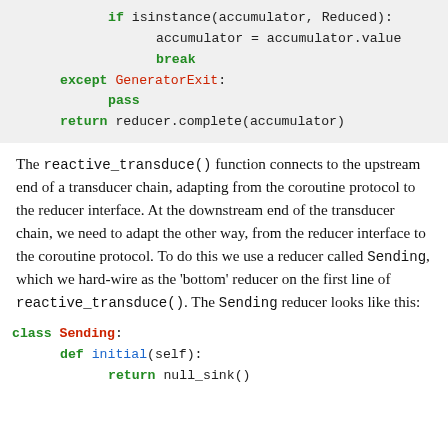if isinstance(accumulator, Reduced):
    accumulator = accumulator.value
    break
except GeneratorExit:
    pass
return reducer.complete(accumulator)
The reactive_transduce() function connects to the upstream end of a transducer chain, adapting from the coroutine protocol to the reducer interface. At the downstream end of the transducer chain, we need to adapt the other way, from the reducer interface to the coroutine protocol. To do this we use a reducer called Sending, which we hard-wire as the 'bottom' reducer on the first line of reactive_transduce(). The Sending reducer looks like this:
class Sending:
    def initial(self):
        return null_sink()